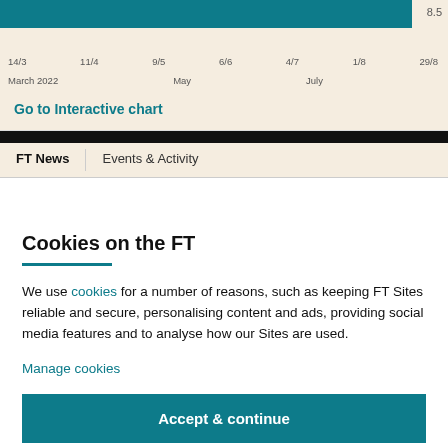[Figure (continuous-plot): Partial time series chart showing a teal/green bar area chart with x-axis date labels: 14/3, 11/4, 9/5, 6/6, 4/7, 1/8, 29/8 spanning March 2022 to August, with y-axis value 8.5 visible]
Go to Interactive chart
FT News
Events & Activity
Cookies on the FT
We use cookies for a number of reasons, such as keeping FT Sites reliable and secure, personalising content and ads, providing social media features and to analyse how our Sites are used.
Manage cookies
Accept & continue